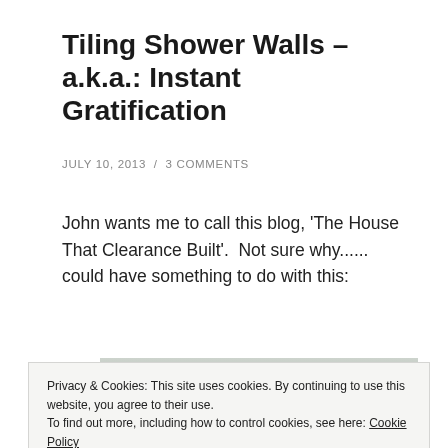Tiling Shower Walls – a.k.a.: Instant Gratification
JULY 10, 2013  /  3 COMMENTS
John wants me to call this blog, 'The House That Clearance Built'.  Not sure why......  could have something to do with this:
[Figure (photo): Photo of white shower wall panels or window frame with handle]
Privacy & Cookies: This site uses cookies. By continuing to use this website, you agree to their use.
To find out more, including how to control cookies, see here: Cookie Policy
Close and accept
[Figure (photo): Bottom portion of another photo, partially visible]